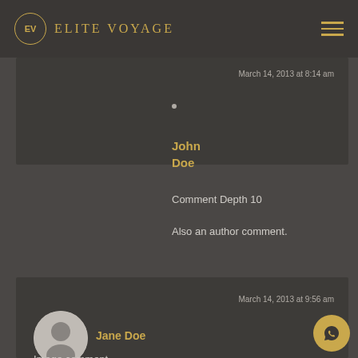ELITE VOYAGE
March 14, 2013 at 8:14 am
John Doe
Comment Depth 10
Also an author comment.
March 14, 2013 at 9:56 am
Jane Doe
Image comment